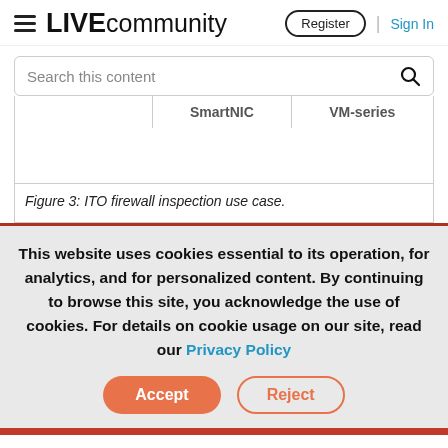LIVEcommunity | Register | Sign In
Search this content
|  | SmartNIC | VM-series |
| --- | --- | --- |
Figure 3: ITO firewall inspection use case.
This website uses cookies essential to its operation, for analytics, and for personalized content. By continuing to browse this site, you acknowledge the use of cookies. For details on cookie usage on our site, read our Privacy Policy
Accept   Reject